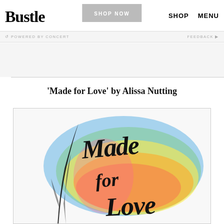Bustle  SHOP  MENU
POWERED BY CONCERT   FEEDBACK
'Made for Love' by Alissa Nutting
[Figure (illustration): Book cover of 'Made for Love' by Alissa Nutting featuring colorful watercolor-style rainbow gradient background with script lettering reading 'Made for Love' and a large feather or leaf element on the left side]